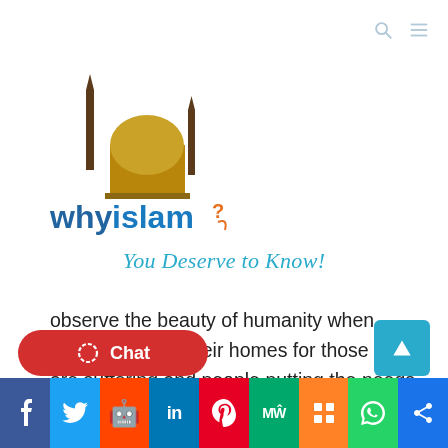[Figure (logo): WhyIslam logo with mosque/minaret illustration and text 'whyislam' in blue/dark with orange question mark accent]
You Deserve to Know!
observe the beauty of humanity when strangers open their homes for those who are suffering and people putting the needs of strangers before themselves. Natural disasters will eventually pass, but these are bonds and memories of human goodness that will remain forever.